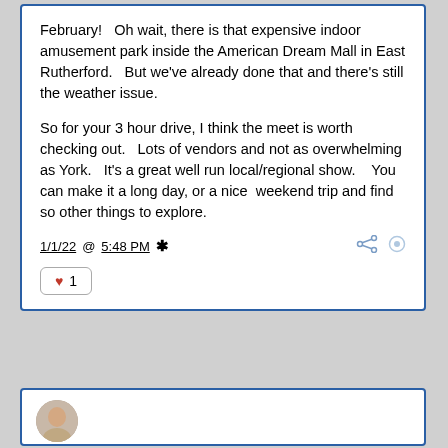February!   Oh wait, there is that expensive indoor amusement park inside the American Dream Mall in East Rutherford.   But we've already done that and there's still the weather issue.

So for your 3 hour drive, I think the meet is worth checking out.   Lots of vendors and not as overwhelming as York.   It's a great well run local/regional show.    You can make it a long day, or a nice  weekend trip and find so other things to explore.
1/1/22 @ 5:48 PM *
♥ 1